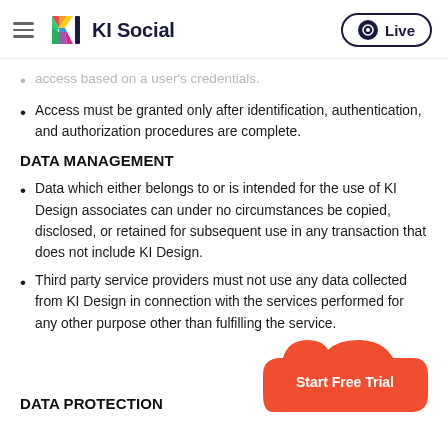KI Social — Live
access based on a user's credentials.
Access must be granted only after identification, authentication, and authorization procedures are complete.
DATA MANAGEMENT
Data which either belongs to or is intended for the use of KI Design associates can under no circumstances be copied, disclosed, or retained for subsequent use in any transaction that does not include KI Design.
Third party service providers must not use any data collected from KI Design in connection with the services performed for any other purpose other than fulfilling the service.
DATA PROTECTION